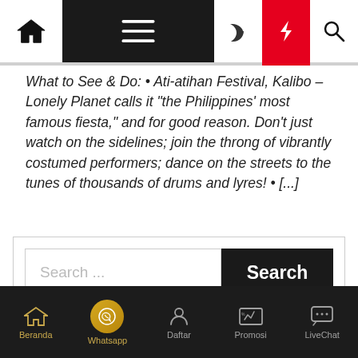Navigation bar with home, menu, moon, lightning, and search icons
What to See & Do: • Ati-atihan Festival, Kalibo – Lonely Planet calls it "the Philippines' most famous fiesta," and for good reason. Don't just watch on the sidelines; join the throng of vibrantly costumed performers; dance on the streets to the tunes of thousands of drums and lyres! • [...]
[Figure (screenshot): Search box with placeholder text 'Search ...' and a black 'Search' button]
Beranda  Whatsapp  Daftar  Promosi  LiveChat